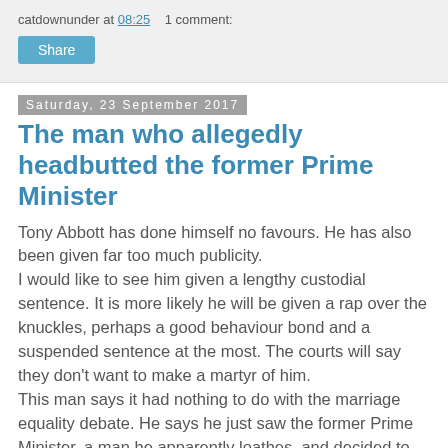catdownunder at 08:25   1 comment:
Share
Saturday, 23 September 2017
The man who allegedly headbutted the former Prime Minister
Tony Abbott has done himself no favours. He has also been given far too much publicity.
I would like to see him given a lengthy custodial sentence. It is more likely he will be given a rap over the knuckles, perhaps a good behaviour bond and a suspended sentence at the most. The courts will say they don't want to make a martyr of him.
This man says it had nothing to do with the marriage equality debate. He says he just saw the former Prime Minister, a man he apparently loathes, and decided to "have a go" at him. Really?
It's possible but I suspect it is all a bit more...